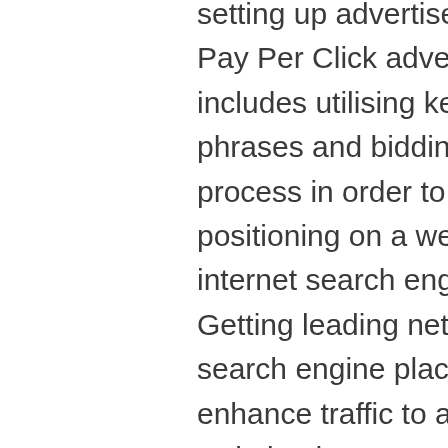setting up advertisements. Pay Per Click advertising includes utilising key phrases and bidding process in order to get top positioning on a web internet search engine. Getting leading net online search engine placing aids enhance traffic to a website that can quickly equate into income.

Without the essential encounter and expertise to do a typical PPC